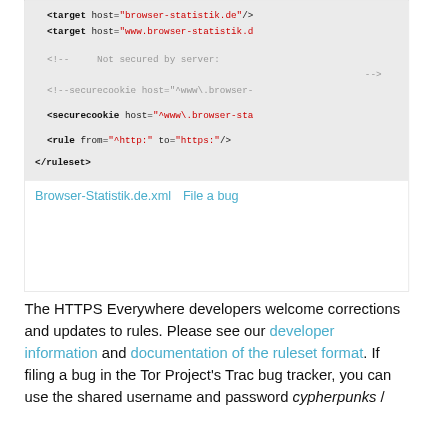[Figure (screenshot): Code snippet showing XML ruleset configuration with target hosts, securecookie, and rule elements, followed by links 'Browser-Statistik.de.xml' and 'File a bug']
The HTTPS Everywhere developers welcome corrections and updates to rules. Please see our developer information and documentation of the ruleset format. If filing a bug in the Tor Project's Trac bug tracker, you can use the shared username and password cypherpunks /